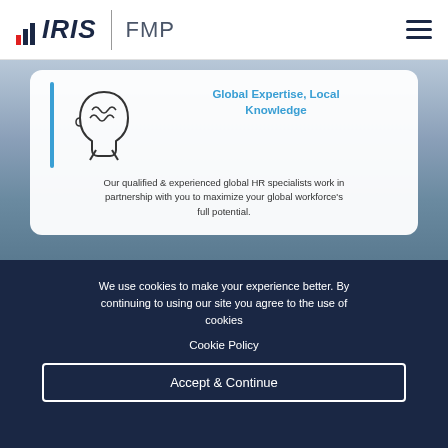IRIS FMP
[Figure (illustration): Head silhouette icon with brain outline, representing global HR expertise]
Global Expertise,  Local Knowledge
Our qualified & experienced global HR specialists work in partnership with you to maximize your global workforce's full potential.
We use cookies to make your experience better. By continuing to using our site you agree to the use of cookies
Cookie Policy
Accept & Continue